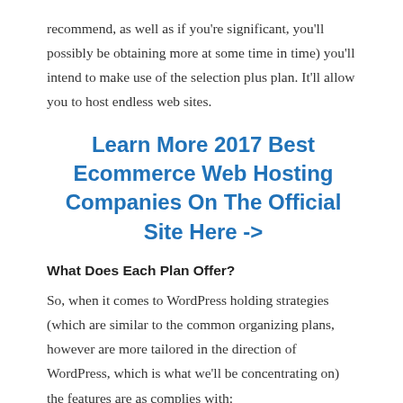recommend, as well as if you're significant, you'll possibly be obtaining more at some time in time) you'll intend to make use of the selection plus plan. It'll allow you to host endless web sites.
Learn More 2017 Best Ecommerce Web Hosting Companies On The Official Site Here ->
What Does Each Plan Offer?
So, when it comes to WordPress holding strategies (which are similar to the common organizing plans, however are more tailored in the direction of WordPress, which is what we'll be concentrating on) the features are as complies with:
For the Fundamental plan, you obtain:
One web site only